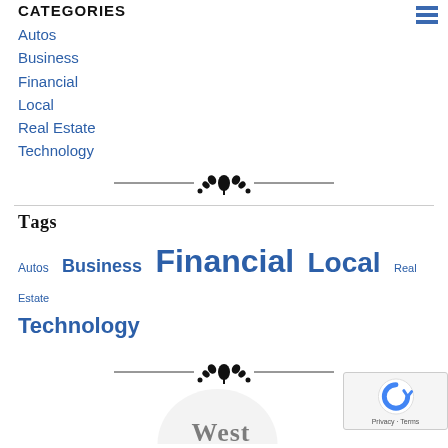Categories
Autos
Business
Financial
Local
Real Estate
Technology
Tags
Autos Business Financial Local Real Estate Technology
West